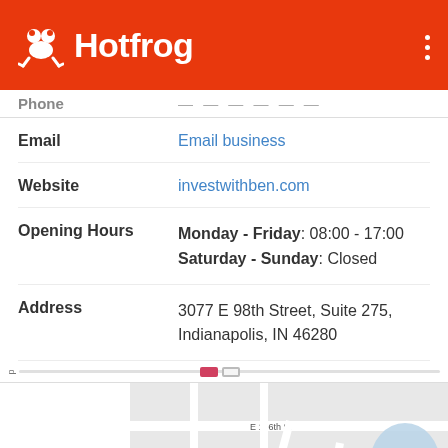Hotfrog
Phone: (partially visible)
Email: Email business
Website: investwithben.com
Opening Hours: Monday - Friday: 08:00 - 17:00 | Saturday - Sunday: Closed
Address: 3077 E 98th Street, Suite 275, Indianapolis, IN 46280
[Figure (map): Street map showing area around E 106th St, Lakeshore Dr E, and Power Dr in Indianapolis, IN.]